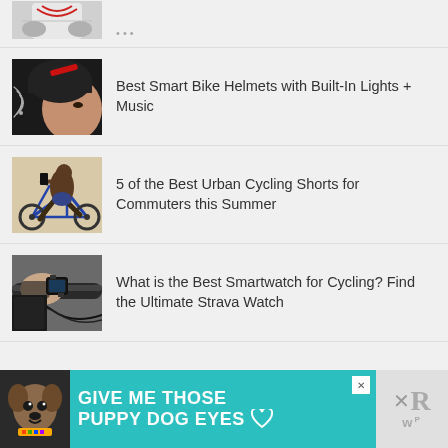[Figure (photo): Partial view of a person with headphones or cycling audio device, cropped at top]
[Figure (photo): Person wearing a smart bike helmet with red accent and wireless symbol, side profile]
Best Smart Bike Helmets with Built-In Lights + Music
[Figure (photo): Cyclist riding a blue road bike, leaning forward, urban commuting]
5 of the Best Urban Cycling Shorts for Commuters this Summer
[Figure (photo): Close-up of hands on bicycle handlebars with a smartwatch visible]
What is the Best Smartwatch for Cycling? Find the Ultimate Strava Watch
[Figure (illustration): Advertisement banner: teal background with dog image, text GIVE ME THOSE PUPPY DOG EYES, close button, and brand logo]